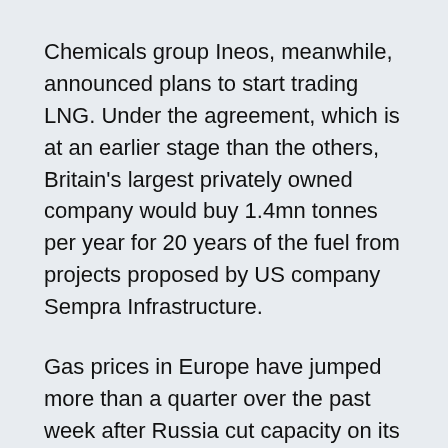Chemicals group Ineos, meanwhile, announced plans to start trading LNG. Under the agreement, which is at an earlier stage than the others, Britain's largest privately owned company would buy 1.4mn tonnes per year for 20 years of the fuel from projects proposed by US company Sempra Infrastructure.
Gas prices in Europe have jumped more than a quarter over the past week after Russia cut capacity on its main gas export pipeline to Germany, fuelling concerns that Moscow is weaponising its gas exports in response to EU sanctions following the invasion of Ukraine.